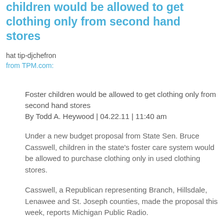children would be allowed to get clothing only from second hand stores
hat tip-djchefron
from TPM.com:
Foster children would be allowed to get clothing only from second hand stores
By Todd A. Heywood | 04.22.11 | 11:40 am
Under a new budget proposal from State Sen. Bruce Casswell, children in the state's foster care system would be allowed to purchase clothing only in used clothing stores.
Casswell, a Republican representing Branch, Hillsdale, Lenawee and St. Joseph counties, made the proposal this week, reports Michigan Public Radio.